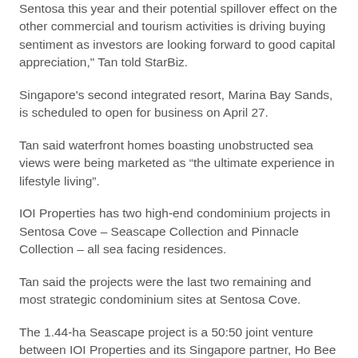Sentosa this year and their potential spillover effect on the other commercial and tourism activities is driving buying sentiment as investors are looking forward to good capital appreciation," Tan told StarBiz.
Singapore's second integrated resort, Marina Bay Sands, is scheduled to open for business on April 27.
Tan said waterfront homes boasting unobstructed sea views were being marketed as “the ultimate experience in lifestyle living”.
IOI Properties has two high-end condominium projects in Sentosa Cove – Seascape Collection and Pinnacle Collection – all sea facing residences.
Tan said the projects were the last two remaining and most strategic condominium sites at Sentosa Cove.
The 1.44-ha Seascape project is a 50:50 joint venture between IOI Properties and its Singapore partner, Ho Bee Investment Ltd.